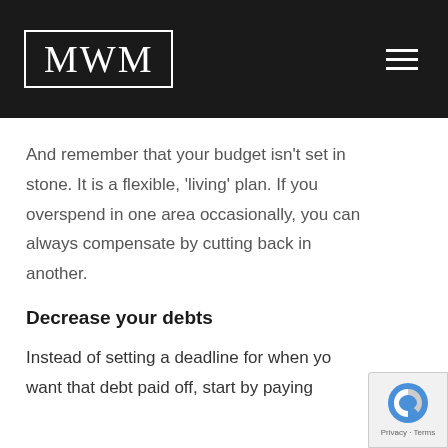[Figure (logo): MWM logo in white serif font inside a white rectangle border on a dark/black background header, with a hamburger menu icon on the right]
And remember that your budget isn't set in stone. It is a flexible, 'living' plan. If you overspend in one area occasionally, you can always compensate by cutting back in another.
Decrease your debts
Instead of setting a deadline for when yo want that debt paid off, start by paying